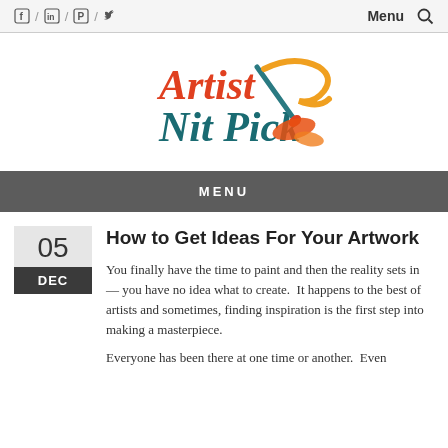Social icons / Menu / Search
[Figure (logo): Artist Nit Pick logo with paintbrush graphic in orange, red, and teal colors]
MENU
How to Get Ideas For Your Artwork
You finally have the time to paint and then the reality sets in — you have no idea what to create.  It happens to the best of artists and sometimes, finding inspiration is the first step into making a masterpiece.
Everyone has been there at one time or another.  Even